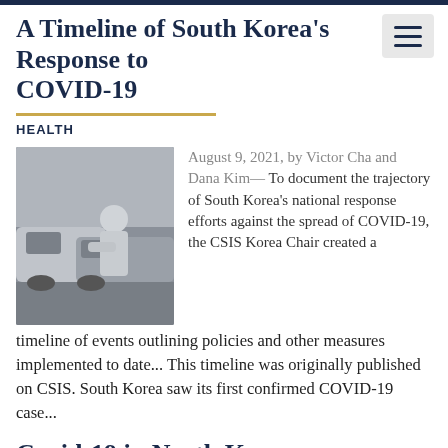A Timeline of South Korea’s Response to COVID-19
HEALTH
[Figure (photo): Black and white photo of a person in protective gear conducting a drive-through COVID-19 test beside a car]
August 9, 2021, by Victor Cha and Dana Kim— To document the trajectory of South Korea’s national response efforts against the spread of COVID-19, the CSIS Korea Chair created a timeline of events outlining policies and other measures implemented to date... This timeline was originally published on CSIS. South Korea saw its first confirmed COVID-19 case...
Covid-19 in North Korea